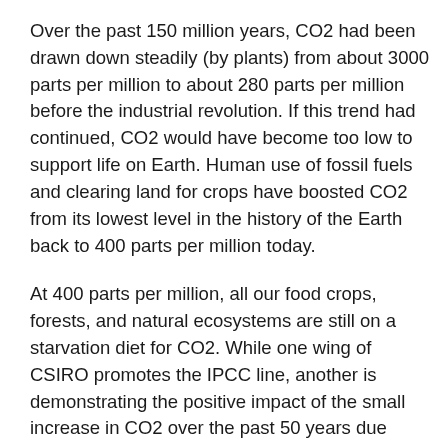Over the past 150 million years, CO2 had been drawn down steadily (by plants) from about 3000 parts per million to about 280 parts per million before the industrial revolution. If this trend had continued, CO2 would have become too low to support life on Earth. Human use of fossil fuels and clearing land for crops have boosted CO2 from its lowest level in the history of the Earth back to 400 parts per million today.
At 400 parts per million, all our food crops, forests, and natural ecosystems are still on a starvation diet for CO2. While one wing of CSIRO promotes the IPCC line, another is demonstrating the positive impact of the small increase in CO2 over the past 50 years due primarily to fossil fuel use – a 10 per cent to 30 per cent increase in plant growth in many regions. Australia is benefiting more than most because its vegetation evolved for dry conditions. Increased CO2